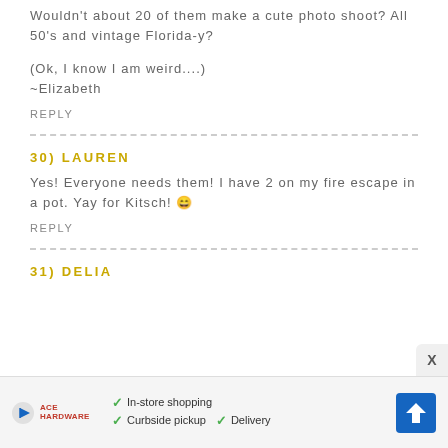Wouldn't about 20 of them make a cute photo shoot? All 50's and vintage Florida-y?
(Ok, I know I am weird....)
~Elizabeth
REPLY
30) LAUREN
Yes! Everyone needs them! I have 2 on my fire escape in a pot. Yay for Kitsch! 🙂
REPLY
31) DELIA
[Figure (other): Advertisement banner with play button, Ace Hardware logo, checkmarks for In-store shopping, Curbside pickup, Delivery, and a blue navigation icon]